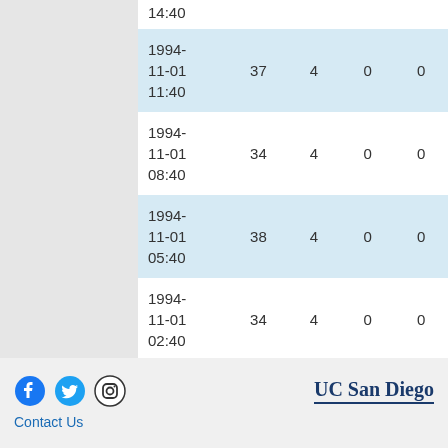| Date/Time | Col1 | Col2 | Col3 | Col4 |
| --- | --- | --- | --- | --- |
| 14:40 |  |  |  |  |
| 1994-11-01 11:40 | 37 | 4 | 0 | 0 |
| 1994-11-01 08:40 | 34 | 4 | 0 | 0 |
| 1994-11-01 05:40 | 38 | 4 | 0 | 0 |
| 1994-11-01 02:40 | 34 | 4 | 0 | 0 |
Contact Us | UC San Diego | Social icons: Facebook, Twitter, Instagram